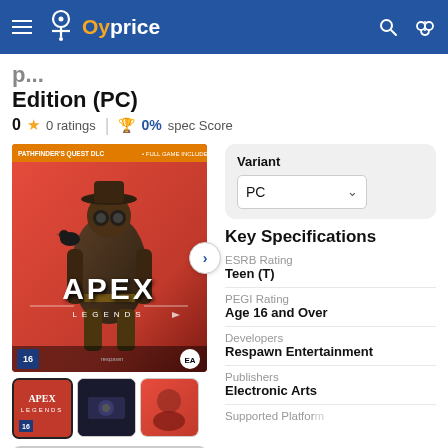Oyprice navigation bar with hamburger menu, logo, search and compare icons
Edition (PC)
0  0 ratings  |  0% spec Score
[Figure (photo): Apex Legends product cover art on red background with game character, PEGI 16 rating badge and EA logo. Three thumbnail images below.]
Variant: PC
Key Specifications
ESRB Rating
Teen (T)
PEGI Rating
Age 16 and Over
Developers
Respawn Entertainment
Publishers
Electronic Arts
Supported Platform